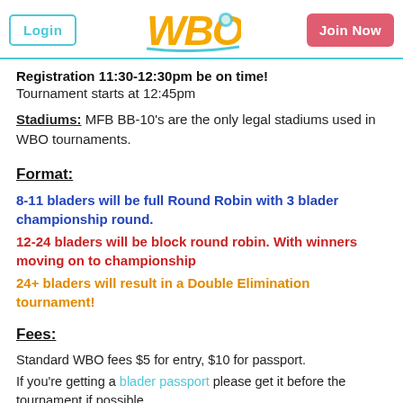Login | WBO Logo | Join Now
Registration 11:30-12:30pm be on time!
Tournament starts at 12:45pm
Stadiums: MFB BB-10's are the only legal stadiums used in WBO tournaments.
Format:
8-11 bladers will be full Round Robin with 3 blader championship round.
12-24 bladers will be block round robin. With winners moving on to championship
24+ bladers will result in a Double Elimination tournament!
Fees:
Standard WBO fees $5 for entry, $10 for passport.
If you're getting a blader passport please get it before the tournament if possible.